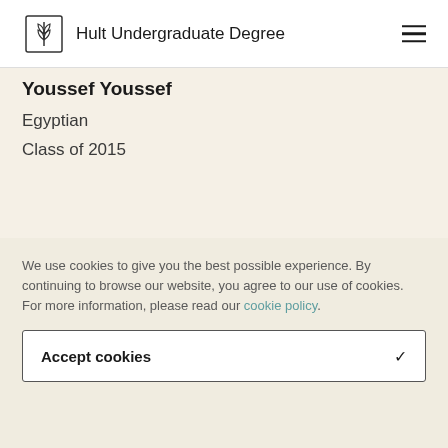Hult Undergraduate Degree
Youssef Youssef
Egyptian
Class of 2015
[Figure (illustration): Red and orange decorative band graphic at the bottom of the cream content area]
We use cookies to give you the best possible experience. By continuing to browse our website, you agree to our use of cookies. For more information, please read our cookie policy.
Accept cookies